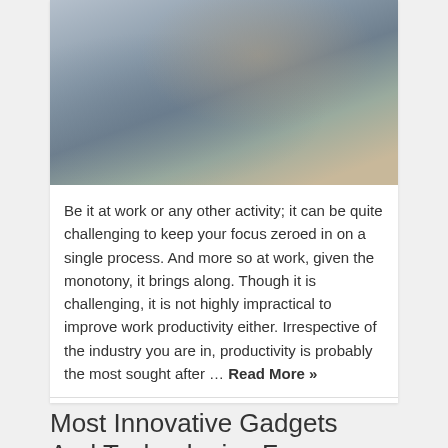[Figure (photo): Two people working at a desk with laptops and papers in an office setting]
Be it at work or any other activity; it can be quite challenging to keep your focus zeroed in on a single process. And more so at work, given the monotony, it brings along. Though it is challenging, it is not highly impractical to improve work productivity either. Irrespective of the industry you are in, productivity is probably the most sought after … Read More »
Most Innovative Gadgets And Technologies From …